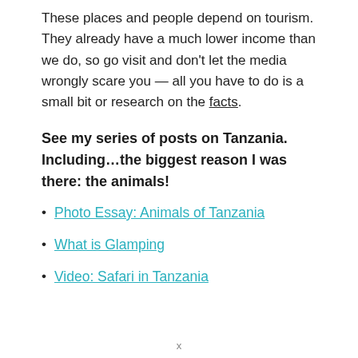These places and people depend on tourism. They already have a much lower income than we do, so go visit and don't let the media wrongly scare you — all you have to do is a small bit or research on the facts.
See my series of posts on Tanzania. Including…the biggest reason I was there: the animals!
Photo Essay: Animals of Tanzania
What is Glamping
Video: Safari in Tanzania
x